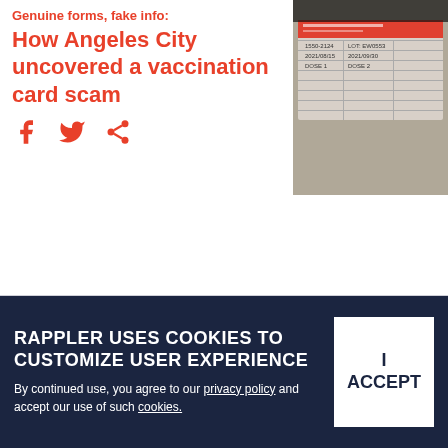Genuine forms, fake info: How Angeles City uncovered a vaccination card scam
[Figure (photo): Photo of a vaccination card document with handwritten entries and a red label/strip across it]
[Figure (other): Social media share icons: Facebook, Twitter, Share]
US & CANADA
US CDC expert panel backs
[Figure (photo): Photo of a vaccine vial with a teal/turquoise syringe needle inserted into it]
RAPPLER USES COOKIES TO CUSTOMIZE USER EXPERIENCE
By continued use, you agree to our privacy policy and accept our use of such cookies.
I ACCEPT